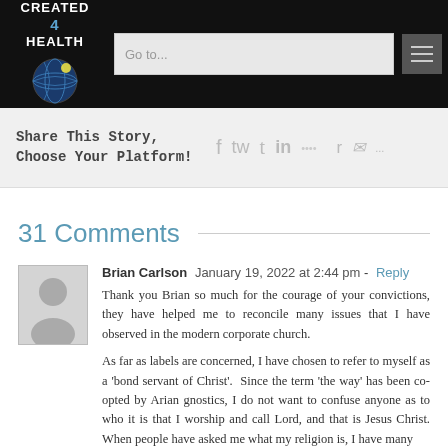CREATED 4 HEALTH — navigation bar with logo and Go to... input
Share This Story, Choose Your Platform!
31 Comments
Brian Carlson  January 19, 2022 at 2:44 pm - Reply
Thank you Brian so much for the courage of your convictions, they have helped me to reconcile many issues that I have observed in the modern corporate church.

As far as labels are concerned, I have chosen to refer to myself as a 'bond servant of Christ'.  Since the term 'the way' has been co-opted by Arian gnostics, I do not want to confuse anyone as to who it is that I worship and call Lord, and that is Jesus Christ. When people have asked me what my religion is, I have many